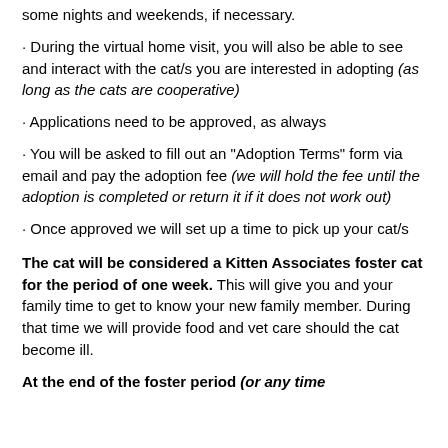some nights and weekends, if necessary.
• During the virtual home visit, you will also be able to see and interact with the cat/s you are interested in adopting (as long as the cats are cooperative)
• Applications need to be approved, as always
• You will be asked to fill out an "Adoption Terms" form via email and pay the adoption fee (we will hold the fee until the adoption is completed or return it if it does not work out)
• Once approved we will set up a time to pick up your cat/s
The cat will be considered a Kitten Associates foster cat for the period of one week. This will give you and your family time to get to know your new family member. During that time we will provide food and vet care should the cat become ill.
At the end of the foster period (or any time